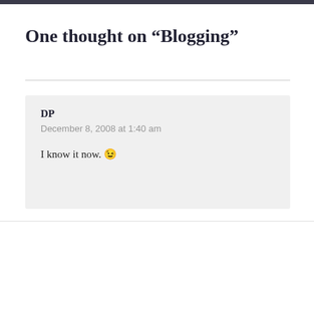One thought on “Blogging”
DP
December 8, 2008 at 1:40 am

I know it now. 😉
Leave a Reply
Your email address will not be published. Required fields are marked